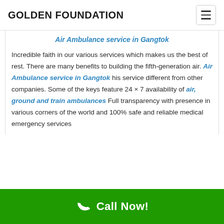GOLDEN FOUNDATION
Air Ambulance service in Gangtok
Incredible faith in our various services which makes us the best of rest. There are many benefits to building the fifth-generation air. Air Ambulance service in Gangtok his service different from other companies. Some of the keys feature 24 × 7 availability of air, ground and train ambulances Full transparency with presence in various corners of the world and 100% safe and reliable medical emergency services
Call Now!